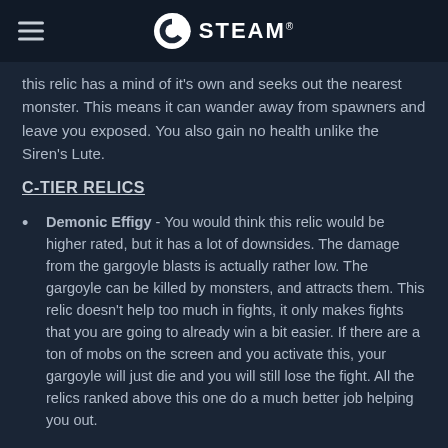STEAM
this relic has a mind of it's own and seeks out the nearest monster. This means it can wander away from spawners and leave you exposed. You also gain no health unlike the Siren's Lute.
C-TIER RELICS
Demonic Effigy - You would think this relic would be higher rated, but it has a lot of downsides. The damage from the gargoyle blasts is actually rather low. The gargoyle can be killed by monsters, and attracts them. This relic doesn't help too much in fights, it only makes fights that you are going to already win a bit easier. If there are a ton of mobs on the screen and you activate this, your gargoyle will just die and you will still lose the fight. All the relics ranked above this one do a much better job helping you out.
Ghost Orb - This relic is average because it does give you health and make you temporarily invulnerable, but the